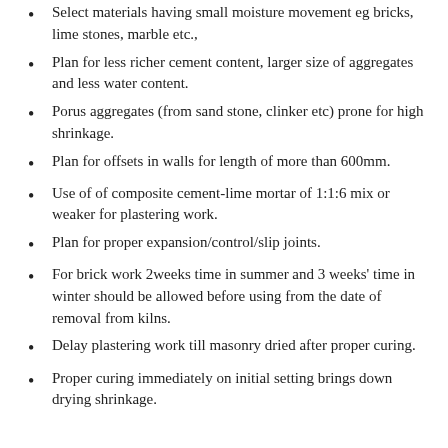Select materials having small moisture movement eg bricks, lime stones, marble etc.,
Plan for less richer cement content, larger size of aggregates and less water content.
Porus aggregates (from sand stone, clinker etc) prone for high shrinkage.
Plan for offsets in walls for length of more than 600mm.
Use of of composite cement-lime mortar of 1:1:6 mix or weaker for plastering work.
Plan for proper expansion/control/slip joints.
For brick work 2weeks time in summer and 3 weeks' time in winter should be allowed before using from the date of removal from kilns.
Delay plastering work till masonry dried after proper curing.
Proper curing immediately on initial setting brings down drying shrinkage.